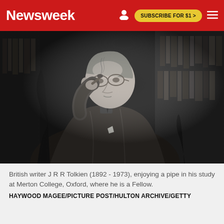Newsweek | SUBSCRIBE FOR $1 >
[Figure (photo): Black and white photograph of British writer J R R Tolkien (1892-1973), an elderly man in a tweed jacket sitting and holding a pipe to his mouth, with bookshelves visible in the background, photographed in his study at Merton College, Oxford.]
British writer J R R Tolkien (1892 - 1973), enjoying a pipe in his study at Merton College, Oxford, where he is a Fellow.
HAYWOOD MAGEE/PICTURE POST/HULTON ARCHIVE/GETTY